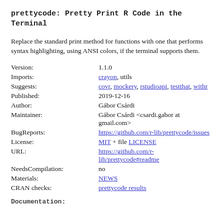prettycode: Pretty Print R Code in the Terminal
Replace the standard print method for functions with one that performs syntax highlighting, using ANSI colors, if the terminal supports them.
| Field | Value |
| --- | --- |
| Version: | 1.1.0 |
| Imports: | crayon, utils |
| Suggests: | covr, mockery, rstudioapi, testthat, withr |
| Published: | 2019-12-16 |
| Author: | Gábor Csárdi |
| Maintainer: | Gábor Csárdi <csardi.gabor at gmail.com> |
| BugReports: | https://github.com/r-lib/prettycode/issues |
| License: | MIT + file LICENSE |
| URL: | https://github.com/r-lib/prettycode#readme |
| NeedsCompilation: | no |
| Materials: | NEWS |
| CRAN checks: | prettycode results |
Documentation: